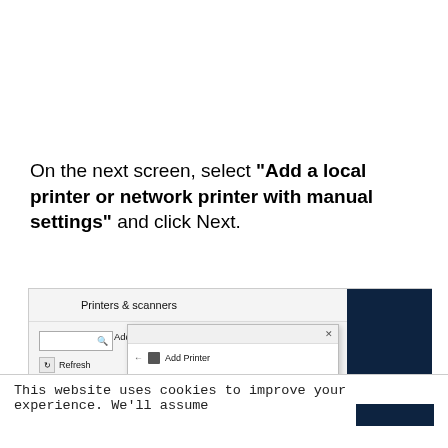On the next screen, select "Add a local printer or network printer with manual settings" and click Next.
[Figure (screenshot): Windows Printers & scanners dialog with an Add Printer popup overlay showing navigation arrow and printer icon]
This website uses cookies to improve your experience. We'll assume